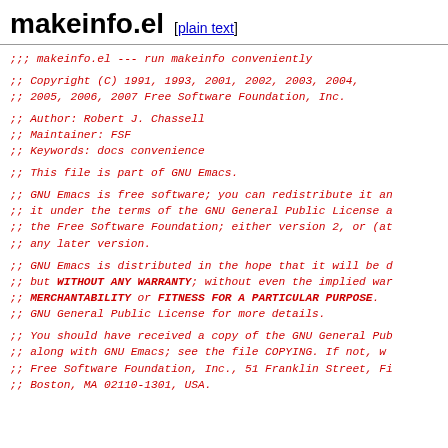makeinfo.el  [plain text]
;;; makeinfo.el --- run makeinfo conveniently

;; Copyright (C) 1991, 1993, 2001, 2002, 2003, 2004,
;;    2005, 2006, 2007 Free Software Foundation, Inc.

;; Author: Robert J. Chassell
;; Maintainer: FSF
;; Keywords: docs convenience

;; This file is part of GNU Emacs.

;; GNU Emacs is free software; you can redistribute it an
;; it under the terms of the GNU General Public License a
;; the Free Software Foundation; either version 2, or (at
;; any later version.

;; GNU Emacs is distributed in the hope that it will be d
;; but WITHOUT ANY WARRANTY; without even the implied war
;; MERCHANTABILITY or FITNESS FOR A PARTICULAR PURPOSE.
;; GNU General Public License for more details.

;; You should have received a copy of the GNU General Pub
;; along with GNU Emacs; see the file COPYING.  If not, w
;; Free Software Foundation, Inc., 51 Franklin Street, Fi
;; Boston, MA 02110-1301, USA.